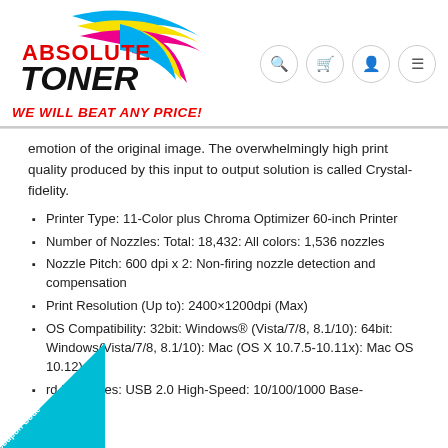[Figure (logo): Absolute Toner logo with colorful swoosh (cyan, yellow, magenta) above the text, 'ABSOLUTE TONER' in red and black, with tagline 'WE WILL BEAT ANY PRICE!' in red italic below]
emotion of the original image. The overwhelmingly high print quality produced by this input to output solution is called Crystal-fidelity.
Printer Type: 11-Color plus Chroma Optimizer 60-inch Printer
Number of Nozzles: Total: 18,432: All colors: 1,536 nozzles
Nozzle Pitch: 600 dpi x 2: Non-firing nozzle detection and compensation
Print Resolution (Up to): 2400×1200dpi (Max)
OS Compatibility: 32bit: Windows® (Vista/7/8, 8.1/10): 64bit: Windows(Vista/7/8, 8.1/10): Mac (OS X 10.7.5-10.11x): Mac OS 10.12)
rd Interfaces: USB 2.0 High-Speed: 10/100/1000 Base-